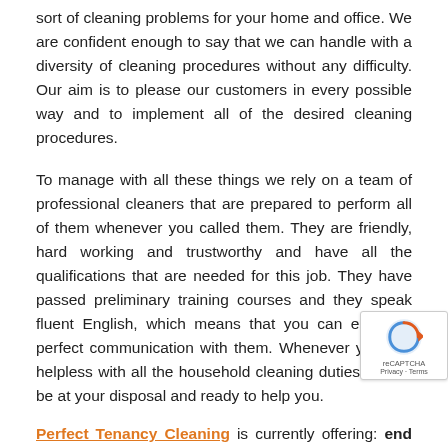sort of cleaning problems for your home and office. We are confident enough to say that we can handle with a diversity of cleaning procedures without any difficulty. Our aim is to please our customers in every possible way and to implement all of the desired cleaning procedures.
To manage with all these things we rely on a team of professional cleaners that are prepared to perform all of them whenever you called them. They are friendly, hard working and trustworthy and have all the qualifications that are needed for this job. They have passed preliminary training courses and they speak fluent English, which means that you can establish perfect communication with them. Whenever you feel helpless with all the household cleaning duties we will be at your disposal and ready to help you.
Perfect Tenancy Cleaning is currently offering: end of